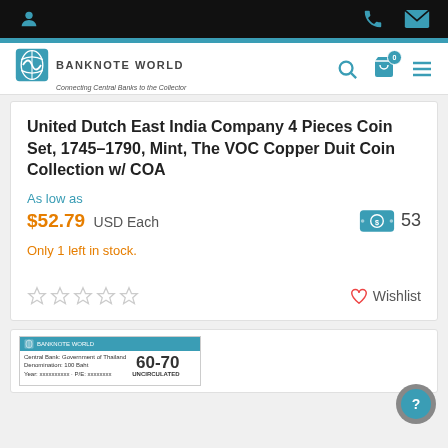Banknote World – navigation bar with user, phone, and email icons
[Figure (logo): Banknote World logo with globe icon and tagline 'Connecting Central Banks to the Collector']
United Dutch East India Company 4 Pieces Coin Set, 1745-1790, Mint, The VOC Copper Duit Coin Collection w/ COA
As low as
$52.79 USD Each   53
Only 1 left in stock.
☆☆☆☆☆   ♡ Wishlist